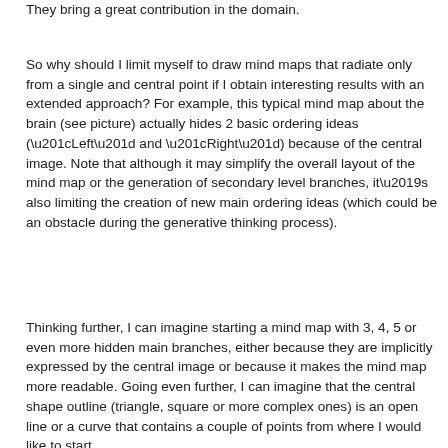They bring a great contribution in the domain.
So why should I limit myself to draw mind maps that radiate only from a single and central point if I obtain interesting results with an extended approach? For example, this typical mind map about the brain (see picture) actually hides 2 basic ordering ideas (“Left” and “Right”) because of the central image. Note that although it may simplify the overall layout of the mind map or the generation of secondary level branches, it’s also limiting the creation of new main ordering ideas (which could be an obstacle during the generative thinking process).
Thinking further, I can imagine starting a mind map with 3, 4, 5 or even more hidden main branches, either because they are implicitly expressed by the central image or because it makes the mind map more readable. Going even further, I can imagine that the central shape outline (triangle, square or more complex ones) is an open line or a curve that contains a couple of points from where I would like to start